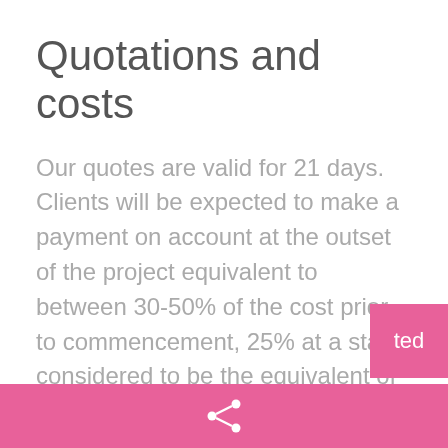Quotations and costs
Our quotes are valid for 21 days. Clients will be expected to make a payment on account at the outset of the project equivalent to between 30-50% of the cost prior to commencement, 25% at a stage considered to be the equivalent of two thirds of the duration of the project and the balance on completion. The quote will be an estimate based on how long we expect the project to take, in terms of hours or days and its commercial value. It will also include the expected cost of bought-in and/or subcontracted goods and services.All prices quoted are